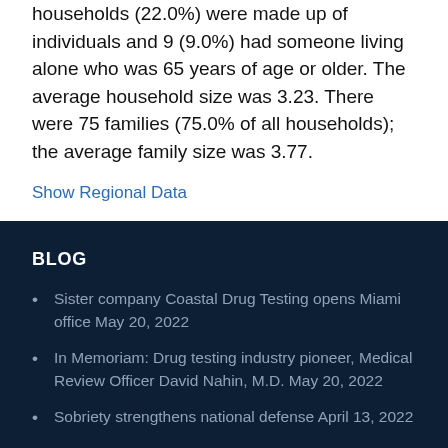households (22.0%) were made up of individuals and 9 (9.0%) had someone living alone who was 65 years of age or older. The average household size was 3.23. There were 75 families (75.0% of all households); the average family size was 3.77.
Show Regional Data
BLOG
Sister company Coastal Drug Testing opens Miami office May 20, 2022
In Memoriam: Drug testing industry pioneer, Medical Review Officer David Nahin, M.D. May 20, 2022
Sobriety strengthens national defense April 13, 2022